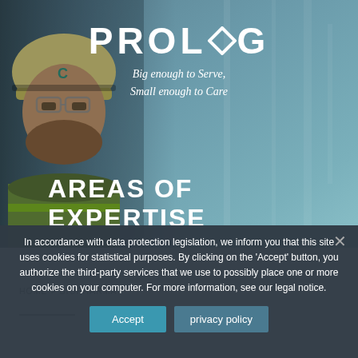[Figure (photo): Hero banner showing a smiling construction worker in a hard hat and safety vest, with industrial background. Prolog logo and tagline overlaid, with 'AREAS OF EXPERTISE' heading.]
PROLOG
Big enough to Serve, Small enough to Care
AREAS OF EXPERTISE
HOME > BIOPHARMA
In accordance with data protection legislation, we inform you that this site uses cookies for statistical purposes. By clicking on the 'Accept' button, you authorize the third-party services that we use to possibly place one or more cookies on your computer. For more information, see our legal notice.